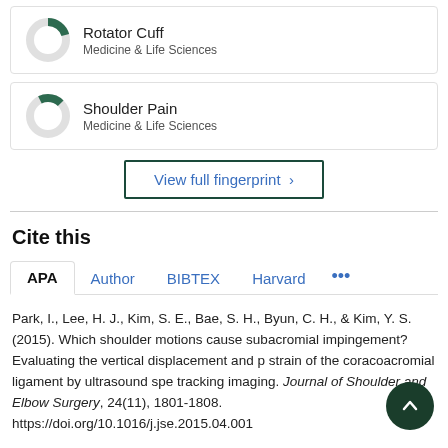[Figure (donut-chart): Donut chart for Rotator Cuff, Medicine & Life Sciences]
Rotator Cuff
Medicine & Life Sciences
[Figure (donut-chart): Donut chart for Shoulder Pain, Medicine & Life Sciences]
Shoulder Pain
Medicine & Life Sciences
View full fingerprint >
Cite this
APA   Author   BIBTEX   Harvard   ...
Park, I., Lee, H. J., Kim, S. E., Bae, S. H., Byun, C. H., & Kim, Y. S. (2015). Which shoulder motions cause subacromial impingement? Evaluating the vertical displacement and pressure strain of the coracoacromial ligament by ultrasound speckle tracking imaging. Journal of Shoulder and Elbow Surgery, 24(11), 1801-1808. https://doi.org/10.1016/j.jse.2015.04.001